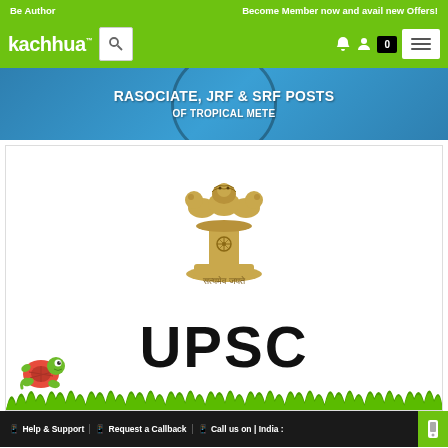Be Author | Become Member now and avail new Offers!
[Figure (logo): Kachhua logo with search box, cart badge showing 0, and hamburger menu on green navigation bar]
[Figure (illustration): Circular stamp/seal of Institute of Tropical Meteorology with text RA SOCIATE, JRF & SRF POSTS overlaid on blue banner]
[Figure (illustration): Indian government emblem (Ashoka Pillar / Lion Capital) in gold/tan color with Devanagari script below, on white background card with UPSC text and cartoon turtle mascot on grass]
Help & Support | Request a Callback | Call us on | India : +919663522209/66